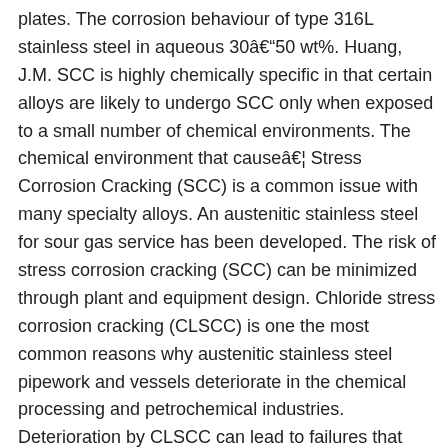plates. The corrosion behaviour of type 316L stainless steel in aqueous 30â50 wt%. Huang, J.M. SCC is highly chemically specific in that certain alloys are likely to undergo SCC only when exposed to a small number of chemical environments. The chemical environment that causeâ¦ Stress Corrosion Cracking (SCC) is a common issue with many specialty alloys. An austenitic stainless steel for sour gas service has been developed. The risk of stress corrosion cracking (SCC) can be minimized through plant and equipment design. Chloride stress corrosion cracking (CLSCC) is one the most common reasons why austenitic stainless steel pipework and vessels deteriorate in the chemical processing and petrochemical industries. Deterioration by CLSCC can lead to failures that have the potential to release stored energy and/or hazardous substances. Stress Corrosion Cracking (SCC) is a common issue with many specialty alloys. Chloride stress corrosion cracking (CSCC) is a type of intergranular corrosion. Exposure to room temperature environment showed parabolic weight loss behaviour, with corrosion rates of up to 0.4 mm/year. : 3 Different types of stainless steel include the elements carbon (from 0.03% to